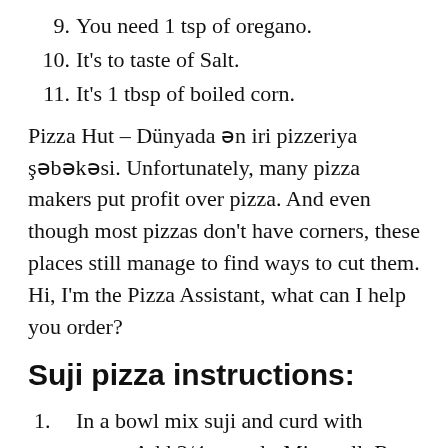9. You need 1 tsp of oregano.
10. It's to taste of Salt.
11. It's 1 tbsp of boiled corn.
Pizza Hut – Dünyada ən iri pizzeriya şəbəkəsi. Unfortunately, many pizza makers put profit over pizza. And even though most pizzas don't have corners, these places still manage to find ways to cut them. Hi, I'm the Pizza Assistant, what can I help you order?
Suji pizza instructions:
1. In a bowl mix suji and curd with water. Add 3/4 tsp salt. Mix well. Rest for 10 minutes. Now add eno and mix gently..